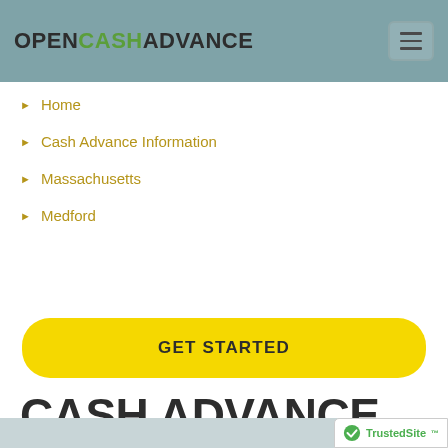OPENCASHADVANCE
Home
Cash Advance Information
Massachusetts
Medford
GET STARTED
CASH ADVANCE AND PAYDAY LOANS IN MEDFORD, MA.